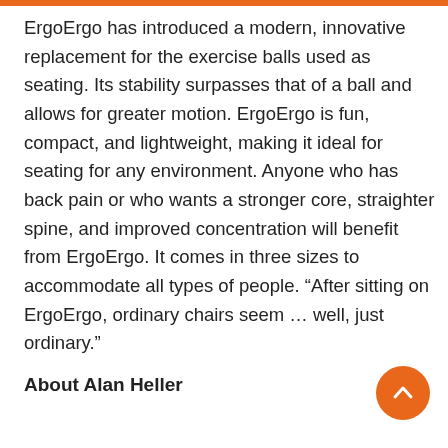ErgoErgo has introduced a modern, innovative replacement for the exercise balls used as seating. Its stability surpasses that of a ball and allows for greater motion. ErgoErgo is fun, compact, and lightweight, making it ideal for seating for any environment. Anyone who has back pain or who wants a stronger core, straighter spine, and improved concentration will benefit from ErgoErgo. It comes in three sizes to accommodate all types of people. “After sitting on ErgoErgo, ordinary chairs seem … well, just ordinary.”
About Alan Heller